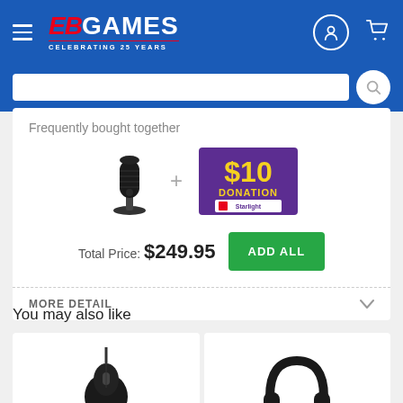[Figure (logo): EB Games logo with 'CELEBRATING 25 YEARS' text on blue header bar with hamburger menu, user icon, and cart icon]
Frequently bought together
[Figure (photo): Blue Yeti-style USB microphone (black) next to a purple $10 Donation badge for Starlight charity]
Total Price: $249.95
ADD ALL
MORE DETAIL
You may also like
[Figure (photo): Black gaming mouse product image]
[Figure (photo): Black over-ear headset product image]